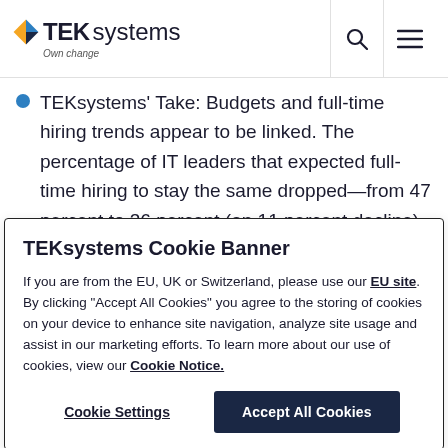TEKsystems Own change
TEKsystems' Take: Budgets and full-time hiring trends appear to be linked. The percentage of IT leaders that expected full-time hiring to stay the same dropped—from 47 percent to 36 percent (an 11 percent decline), following a similar trend
TEKsystems Cookie Banner
If you are from the EU, UK or Switzerland, please use our EU site. By clicking "Accept All Cookies" you agree to the storing of cookies on your device to enhance site navigation, analyze site usage and assist in our marketing efforts. To learn more about our use of cookies, view our Cookie Notice.
Cookie Settings | Accept All Cookies